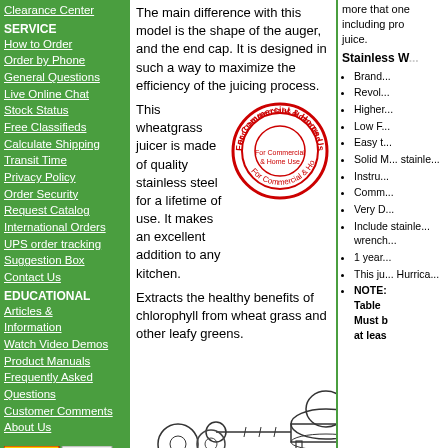Clearance Center
SERVICE
How to Order
Order by Phone
General Questions
Live Online Chat
Stock Status
Free Classifieds
Calculate Shipping
Transit Time
Privacy Policy
Order Security
Request Catalog
International Orders
UPS order tracking
Suggestion Box
Contact Us
EDUCATIONAL
Articles & Information
Watch Video Demos
Product Manuals
Frequently Asked Questions
Customer Comments
About Us
The main difference with this model is the shape of the auger, and the end cap. It is designed in such a way to maximize the efficiency of the juicing process.
This wheatgrass juicer is made of quality stainless steel for a lifetime of use. It makes an excellent addition to any kitchen.
[Figure (illustration): Circular stamp/seal reading 'For Commercial & Home Use']
Extracts the healthy benefits of chlorophyll from wheat grass and other leafy greens.
[Figure (illustration): Exploded diagram of a manual stainless steel wheatgrass juicer showing all components. Copyright 2004 DiscountJuicers.com]
(c) 2004 DiscountJuicers.com
Of all the manual wheatgrass juicers, we prefer the Commercial Stainless Steel Manual Juicer. It has a
more that one... including pro... juice.
Stainless W...
Brand...
Revol...
Higher...
Low F...
Easy t...
Solid M... stainle...
Instru...
Comm...
Very D...
Includes stainle... wrench...
1 year...
This ju... Hurrica...
NOTE: Table Must b at leas